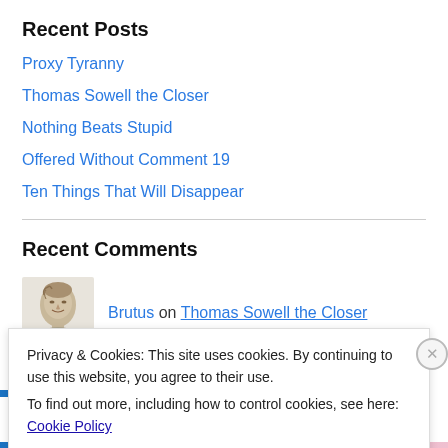Recent Posts
Proxy Tyranny
Thomas Sowell the Closer
Nothing Beats Stupid
Offered Without Comment 19
Ten Things That Will Disappear
Recent Comments
Brutus on Thomas Sowell the Closer
Privacy & Cookies: This site uses cookies. By continuing to use this website, you agree to their use.
To find out more, including how to control cookies, see here: Cookie Policy
Close and accept